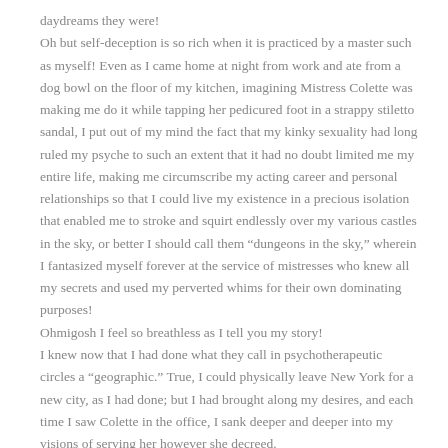daydreams they were! Oh but self-deception is so rich when it is practiced by a master such as myself! Even as I came home at night from work and ate from a dog bowl on the floor of my kitchen, imagining Mistress Colette was making me do it while tapping her pedicured foot in a strappy stiletto sandal, I put out of my mind the fact that my kinky sexuality had long ruled my psyche to such an extent that it had no doubt limited me my entire life, making me circumscribe my acting career and personal relationships so that I could live my existence in a precious isolation that enabled me to stroke and squirt endlessly over my various castles in the sky, or better I should call them “dungeons in the sky,” wherein I fantasized myself forever at the service of mistresses who knew all my secrets and used my perverted whims for their own dominating purposes! Ohmigosh I feel so breathless as I tell you my story! I knew now that I had done what they call in psychotherapeutic circles a “geographic.” True, I could physically leave New York for a new city, as I had done; but I had brought along my desires, and each time I saw Colette in the office, I sank deeper and deeper into my visions of serving her however she decreed.